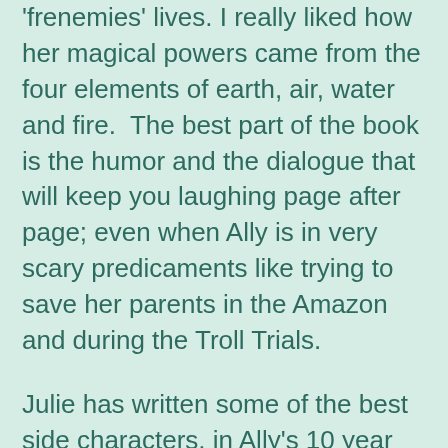'frenemies' lives. I really liked how her magical powers came from the four elements of earth, air, water and fire.  The best part of the book is the humor and the dialogue that will keep you laughing page after page; even when Ally is in very scary predicaments like trying to save her parents in the Amazon and during the Troll Trials.
Julie has written some of the best side characters, in Ally's 10 year old brother Robison, and her Swedish Grandmother, Farmor, who is also a witch or a Troll Kvinna. The banter between Ally and her brother and Ally and her grandmother is sarcastic and funny. There is the sweetness and uncertainty of first young love between Ally and Jake, which is all clean, but so realistic for what teens go through.
This YA Paranormal novel has so much to offer readers: mean girls that are chastised after they've bullied Ally for years, magical trolls with trials that can